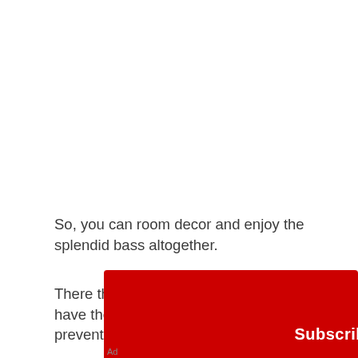So, you can room decor and enjoy the splendid bass altogether.
There then comes the rubber feet's which have the shock-absorbing capacity and prevent the vibrations from direct going to
[Figure (screenshot): YouTube advertisement overlay banner for 'Bibi and Tina English YouTube' channel with a red Subscribe button and close/play icons]